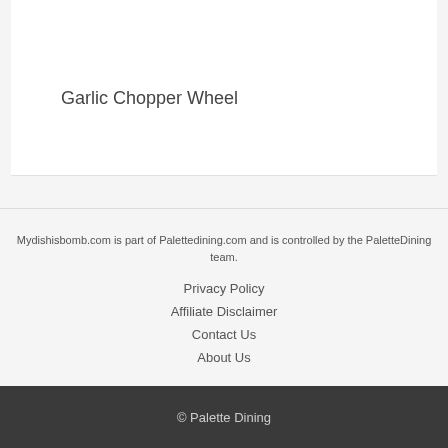Garlic Chopper Wheel
Mydishisbomb.com is part of Palettedining.com and is controlled by the PaletteDining team.
Privacy Policy
Affiliate Disclaimer
Contact Us
About Us
© Palette Dining